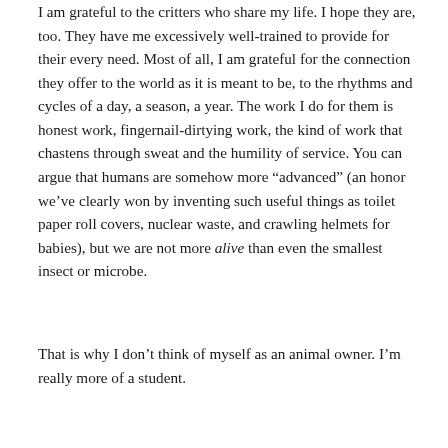I am grateful to the critters who share my life. I hope they are, too. They have me excessively well-trained to provide for their every need. Most of all, I am grateful for the connection they offer to the world as it is meant to be, to the rhythms and cycles of a day, a season, a year. The work I do for them is honest work, fingernail-dirtying work, the kind of work that chastens through sweat and the humility of service. You can argue that humans are somehow more “advanced” (an honor we’ve clearly won by inventing such useful things as toilet paper roll covers, nuclear waste, and crawling helmets for babies), but we are not more alive than even the smallest insect or microbe.
That is why I don’t think of myself as an animal owner. I’m really more of a student.